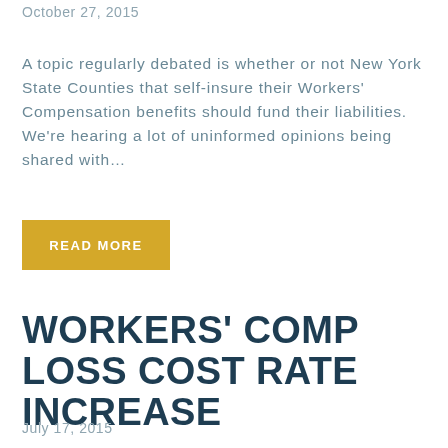October 27, 2015
A topic regularly debated is whether or not New York State Counties that self-insure their Workers' Compensation benefits should fund their liabilities. We're hearing a lot of uninformed opinions being shared with...
READ MORE
WORKERS' COMP LOSS COST RATE INCREASE
July 17, 2015